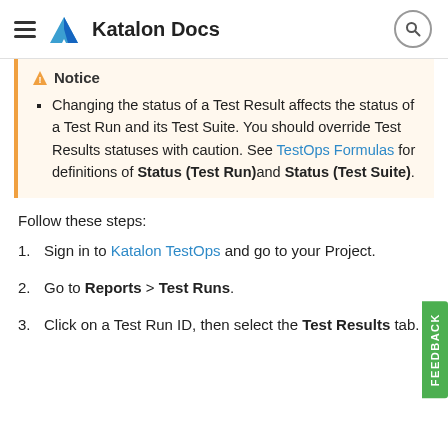Katalon Docs
Notice
Changing the status of a Test Result affects the status of a Test Run and its Test Suite. You should override Test Results statuses with caution. See TestOps Formulas for definitions of Status (Test Run) and Status (Test Suite).
Follow these steps:
1. Sign in to Katalon TestOps and go to your Project.
2. Go to Reports > Test Runs.
3. Click on a Test Run ID, then select the Test Results tab.